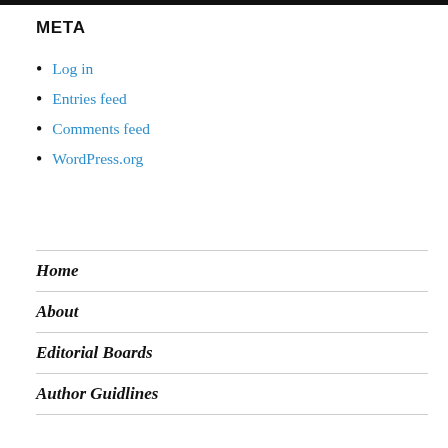META
Log in
Entries feed
Comments feed
WordPress.org
Home
About
Editorial Boards
Author Guidlines